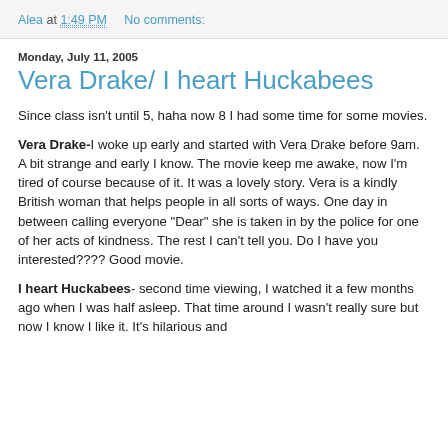Alea at 1:49 PM    No comments:
Monday, July 11, 2005
Vera Drake/ I heart Huckabees
Since class isn't until 5, haha now 8 I had some time for some movies.
Vera Drake- I woke up early and started with Vera Drake before 9am. A bit strange and early I know. The movie keep me awake, now I'm tired of course because of it. It was a lovely story. Vera is a kindly British woman that helps people in all sorts of ways. One day in between calling everyone "Dear" she is taken in by the police for one of her acts of kindness. The rest I can't tell you. Do I have you interested???? Good movie.
I heart Huckabees- second time viewing, I watched it a few months ago when I was half asleep. That time around I wasn't really sure but now I know I like it. It's hilarious and